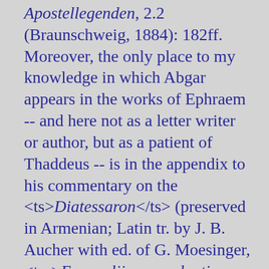Apostellegenden, 2.2 (Braunschweig, 1884): 182ff. Moreover, the only place to my knowledge in which Abgar appears in the works of Ephraem -- and here not as a letter writer or author, but as a patient of Thaddeus -- is in the appendix to his commentary on the <ts>Diatessaron</ts> (preserved in Armenian; Latin tr. by J. B. Aucher with ed. of G. Moesinger, <tm>Evangelii concordantis exposito</tm> [Venice, 1876], p. 287; ed. L. Leloir, CSCO 137/145 = Scriptores Armeniaci 1-2 [1953-54], 350/248; this material is lacking in the Syriac materials -- see Leloir's introduction and